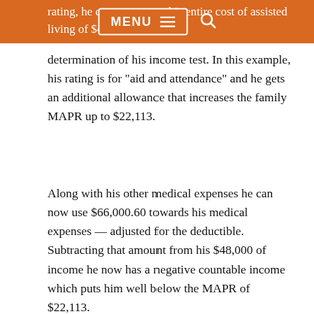rating, he can now count his entire cost of assisted living of $48,000 towards
determination of his income test. In this example, his rating is for “aid and attendance” and he gets an additional allowance that increases the family MAPR up to $22,113.
Along with his other medical expenses he can now use $66,000.60 towards his medical expenses — adjusted for the deductible. Subtracting that amount from his $48,000 of income he now has a negative countable income which puts him well below the MAPR of $22,113.